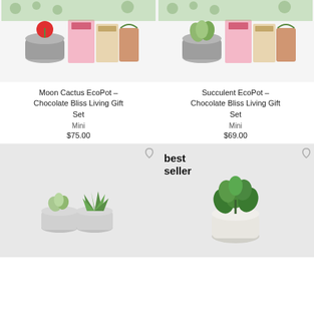[Figure (photo): Moon Cactus EcoPot with Chocolate Bliss gift set products on white background]
[Figure (photo): Succulent EcoPot with Chocolate Bliss gift set products on white background]
Moon Cactus EcoPot – Chocolate Bliss Living Gift Set
Mini
$75.00
Succulent EcoPot – Chocolate Bliss Living Gift Set
Mini
$69.00
[Figure (photo): Two small succulents in grey pots on light grey background]
[Figure (photo): Green leafy plant in white ceramic pot on light grey background, with best seller badge]